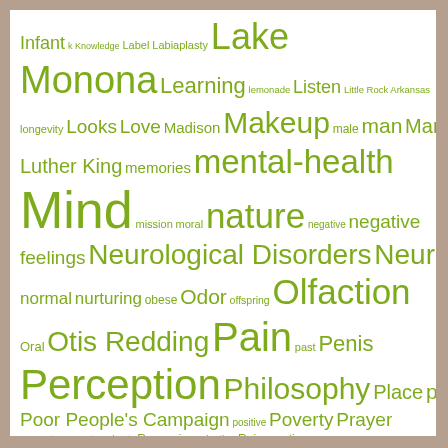[Figure (infographic): Word cloud on white background with tan/brown border frame. All words in green (olive-green #7dab1c). Words vary in size indicating frequency/importance. Words include: Infant, k Knowledge, Label, Labiaplasty, Lake, Monona, Learning, lemonade, Listen, Little Rock Arkansas, longevity, Looks, Love, Madison, Makeup, male, man, Martin Luther King, memories, mental-health, Mind, mission, moral, nature, negative, negative feelings, Neurological Disorders, Neuron, normal, nurturing, obese, Odor, offspring, Olfaction, Oral, Otis Redding, Pain, past, Penis, Perception, Philosophy, Place, pleasure, Poor People's Campaign, positive, Poverty, Prayer, present, procreate, puberty, Reasoning, rejection, Rejuvenation, relationship, relationships, religion, Religion & Spirituality, root cause, science, seduction, seed, Segment, Self, Self-esteem, Sense, Senses, Sensory system, Sex, Sex organ, Sexual intercourse, Sigmund Freud, Skin, Smell and Taste, Southern Christian Leadership Conference, Space, success, Suffer, taboo, Taste, Taste bud, temptation, theology, the senses, Think]